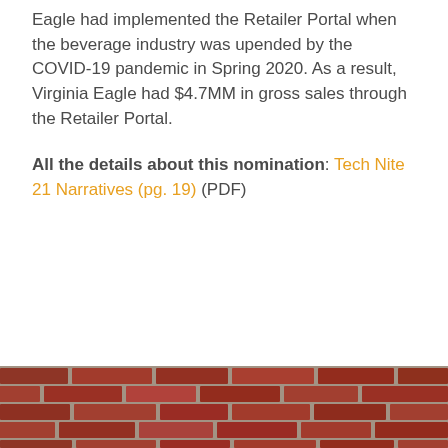Eagle had implemented the Retailer Portal when the beverage industry was upended by the COVID-19 pandemic in Spring 2020. As a result, Virginia Eagle had $4.7MM in gross sales through the Retailer Portal.
All the details about this nomination: Tech Nite 21 Narratives (pg. 19) (PDF)
[Figure (photo): Photograph of a red brick wall, partially visible at the bottom of the page]